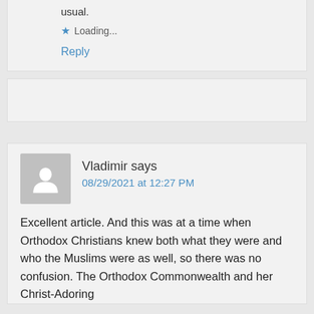usual.
Loading...
Reply
Vladimir says
08/29/2021 at 12:27 PM
Excellent article. And this was at a time when Orthodox Christians knew both what they were and who the Muslims were as well, so there was no confusion. The Orthodox Commonwealth and her Christ-Adoring